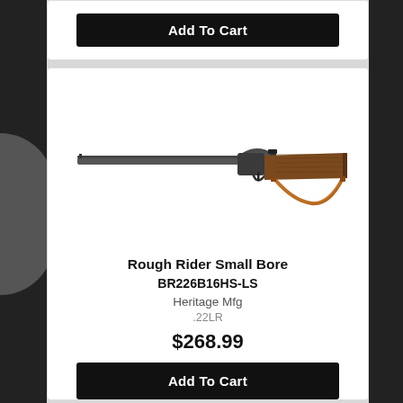Add To Cart
[Figure (photo): Heritage Mfg Rough Rider Small Bore rifle with wooden stock and leather sling, shown in profile view against white background]
Rough Rider Small Bore
BR226B16HS-LS
Heritage Mfg
.22LR
$268.99
Add To Cart